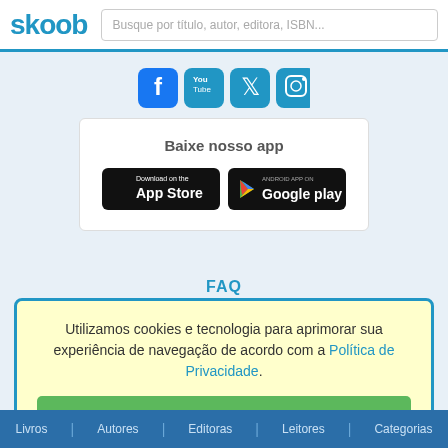skoob | Busque por título, autor, editora, ISBN...
[Figure (other): Social media icons: Facebook, YouTube, Twitter, Instagram]
Baixe nosso app
[Figure (other): Download on the App Store button and Android App on Google Play button]
FAQ
Utilizamos cookies e tecnologia para aprimorar sua experiência de navegação de acordo com a Política de Privacidade.
ACEITAR
Livros | Autores | Editoras | Leitores | Categorias